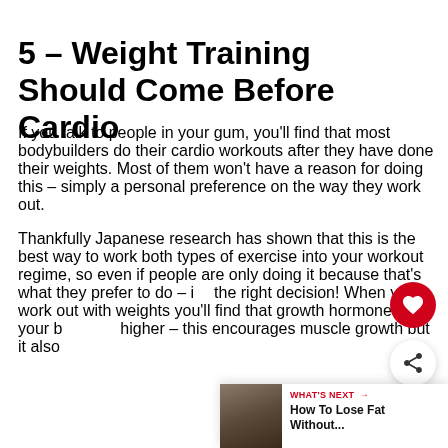5 – Weight Training Should Come Before Cardio
If you talk to people in your gum, you'll find that most bodybuilders do their cardio workouts after they have done their weights. Most of them won't have a reason for doing this – simply a personal preference on the way they work out.
Thankfully Japanese research has shown that this is the best way to work both types of exercise into your workout regime, so even if people are only doing it because that's what they prefer to do – it's the right decision! When you work out with weights you'll find that growth hormones in your body are higher – this encourages muscle growth but it also